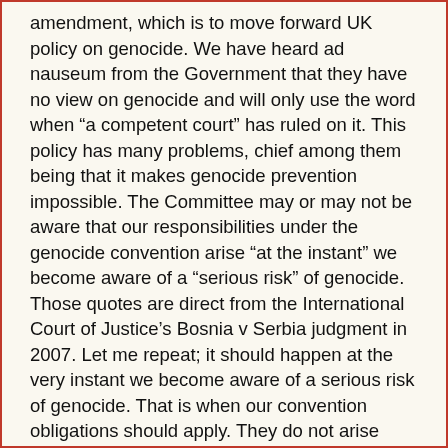amendment, which is to move forward UK policy on genocide. We have heard ad nauseum from the Government that they have no view on genocide and will only use the word when “a competent court” has ruled on it. This policy has many problems, chief among them being that it makes genocide prevention impossible. The Committee may or may not be aware that our responsibilities under the genocide convention arise “at the instant” we become aware of a “serious risk” of genocide. Those quotes are direct from the International Court of Justice’s Bosnia v Serbia judgment in 2007. Let me repeat; it should happen at the very instant we become aware of a serious risk of genocide. That is when our convention obligations should apply. They do not arise when a court formally determines genocide, which usually happens many years after the genocide in question has